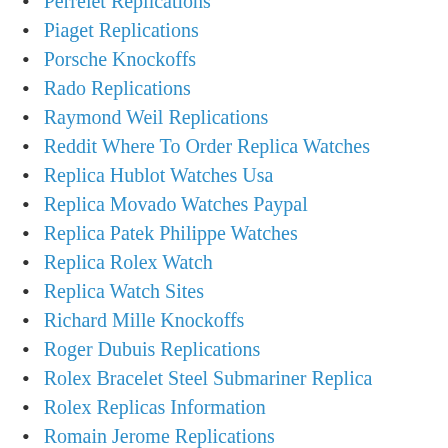Perrelet Replications
Piaget Replications
Porsche Knockoffs
Rado Replications
Raymond Weil Replications
Reddit Where To Order Replica Watches
Replica Hublot Watches Usa
Replica Movado Watches Paypal
Replica Patek Philippe Watches
Replica Rolex Watch
Replica Watch Sites
Richard Mille Knockoffs
Roger Dubuis Replications
Rolex Bracelet Steel Submariner Replica
Rolex Replicas Information
Romain Jerome Replications
Sevenfriday Replications